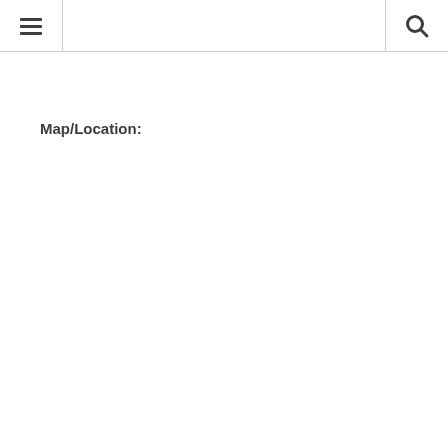☰ [menu] … [search]
Map/Location: